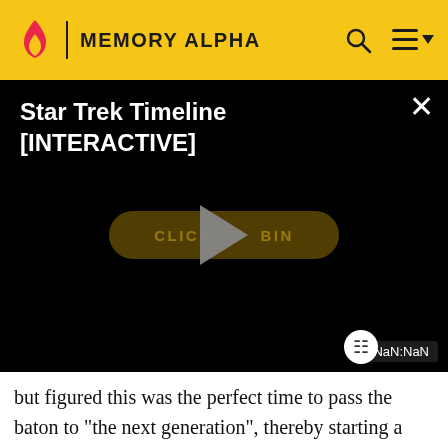MEMORY ALPHA
[Figure (screenshot): Star Trek Timeline [INTERACTIVE] video player with black background, play button overlay, CLICK TO BEGIN button, and NaN:NaN timer badge]
but figured this was the perfect time to pass the baton to "the next generation", thereby starting a new Star Trek movie franchise. He instructed Berman to start looking into that, and have a movie ready at the end of The Next Generation television series (by which time the new Star